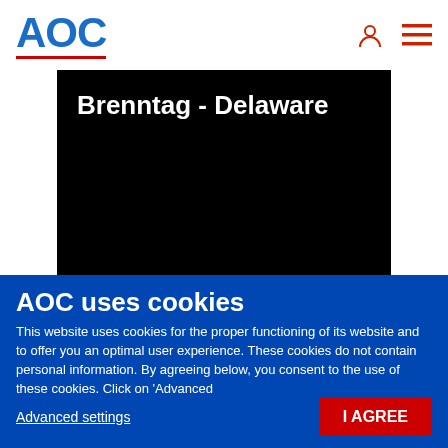AOC
[Figure (screenshot): Black video player area showing title 'Brenntag - Delaware' in white bold text on black background]
AOC uses cookies
This website uses cookies for the proper functioning of its website and to offer you an optimal user experience. These cookies do not contain personal information. By agreeing below, you consent to the use of these cookies. Click on 'Advanced
Advanced settings
I AGREE